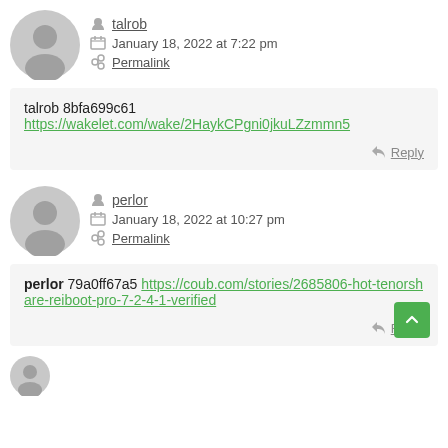talrob — January 18, 2022 at 7:22 pm — Permalink
talrob 8bfa699c61 https://wakelet.com/wake/2HaykCPgni0jkuLZzmmn5
Reply
perlor — January 18, 2022 at 10:27 pm — Permalink
perlor 79a0ff67a5 https://coub.com/stories/2685806-hot-tenorshare-reiboot-pro-7-2-4-1-verified
Reply